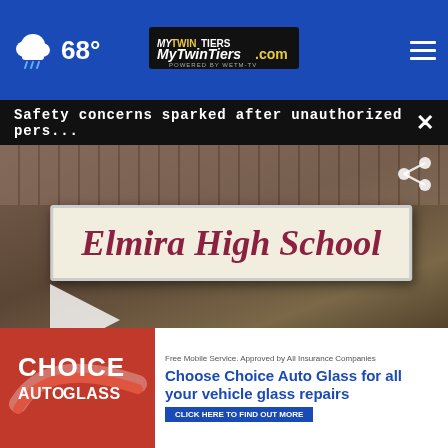MyTwinTiers.com — 68°
Safety concerns sparked after unauthorized pers...
[Figure (screenshot): Elmira High School building exterior sign reading 'Elmira High School' with video player overlay and play button, watermark reading MYTWINTIERS.COM]
DEP: Lawrenceville plug...
Breesport man kil... n
Pet of... Chem...
[Figure (photo): Choice Auto Glass advertisement banner: 'Free Mobile Service. Approved by All Insurance Companies. Choose Choice Auto Glass for all your vehicle glass repairs. CLICK HERE TO FIND OUT MORE']